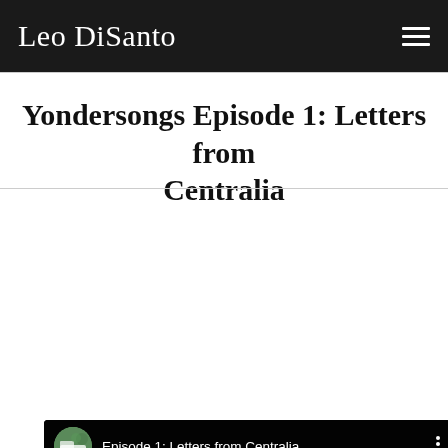Leo DiSanto
Yondersongs Episode 1: Letters from Centralia
[Figure (screenshot): Embedded YouTube video player showing 'Episode 1: Letters from Centralia' with a man's face against a dark background and a YouTube play button in the center.]